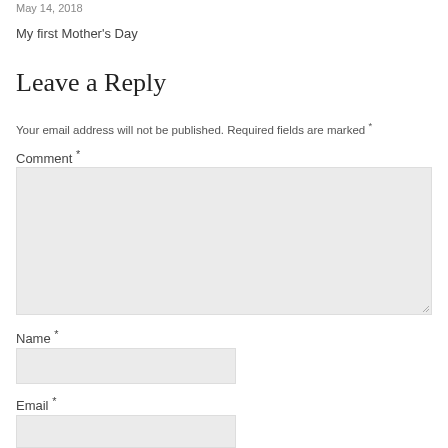May 14, 2018
My first Mother's Day
Leave a Reply
Your email address will not be published. Required fields are marked *
Comment *
Name *
Email *